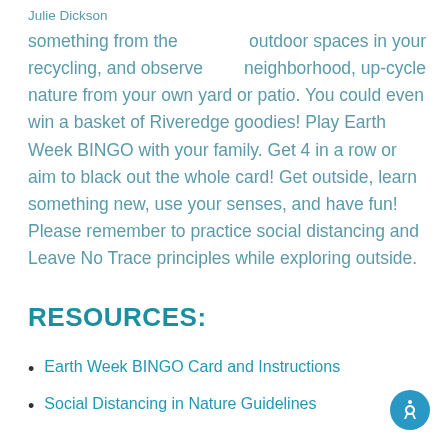Julie Dickson
outdoor spaces in your neighborhood, up-cycle something from the recycling, and observe nature from your own yard or patio. You could even win a basket of Riveredge goodies! Play Earth Week BINGO with your family. Get 4 in a row or aim to black out the whole card! Get outside, learn something new, use your senses, and have fun! Please remember to practice social distancing and Leave No Trace principles while exploring outside.
RESOURCES:
Earth Week BINGO Card and Instructions
Social Distancing in Nature Guidelines